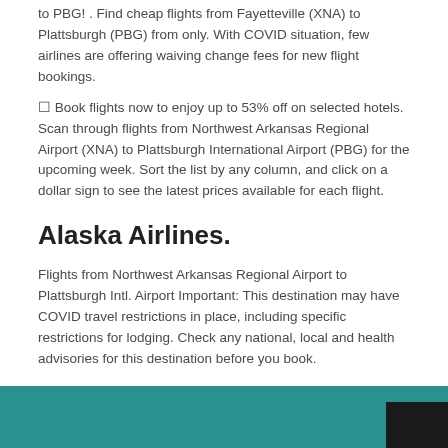to PBG! . Find cheap flights from Fayetteville (XNA) to Plattsburgh (PBG) from only. With COVID situation, few airlines are offering waiving change fees for new flight bookings.
☐ Book flights now to enjoy up to 53% off on selected hotels. Scan through flights from Northwest Arkansas Regional Airport (XNA) to Plattsburgh International Airport (PBG) for the upcoming week. Sort the list by any column, and click on a dollar sign to see the latest prices available for each flight.
Alaska Airlines.
Flights from Northwest Arkansas Regional Airport to Plattsburgh Intl. Airport Important: This destination may have COVID travel restrictions in place, including specific restrictions for lodging. Check any national, local and health advisories for this destination before you book.